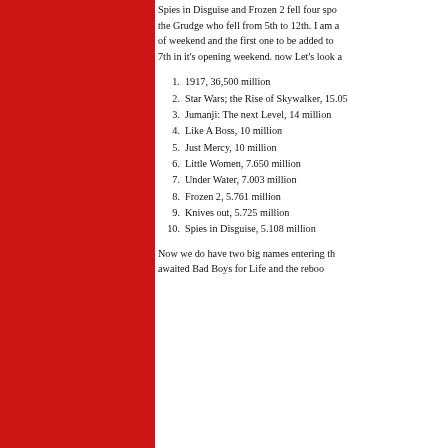Spies in Disguise and Frozen 2 fell four spots and the Grudge who fell from 5th to 12th. I am a of weekend and the first one to be added to 7th in it's opening weekend. now Let's look a
1. 1917, 36,500 million
2. Star Wars; the Rise of Skywalker, 15.05
3. Jumanji: The next Level, 14 million
4. Like A Boss, 10 million
5. Just Mercy, 10 million
6. Little Women, 7.650 million
7. Under Water, 7.003 million
8. Frozen 2, 5.761 million
9. Knives out, 5.725 million
10. Spies in Disguise, 5.108 million
Now we do have two big names entering th awaited Bad Boys for Life and the reboo
[Figure (screenshot): Advertisement bar with WordPress VIP logo and 'Learn more' button, showing a banner ad at the bottom of the page]